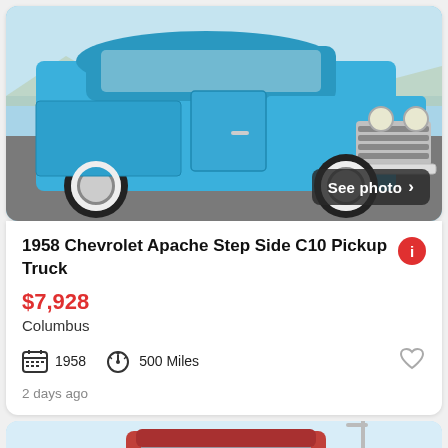[Figure (photo): 1958 Chevrolet Apache Step Side C10 Pickup Truck in bright blue, front three-quarter view, parked on pavement with desert landscape background. 'See photo >' button overlay in bottom right.]
1958 Chevrolet Apache Step Side C10 Pickup Truck
$7,928
Columbus
1958   500 Miles
2 days ago
[Figure (photo): Partial view of a red classic pickup truck cab, partially visible at the bottom of the page.]